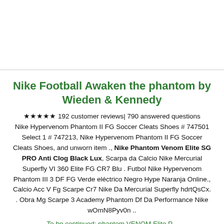[Figure (other): White rectangular box at top of page, likely a product image placeholder with a thin bottom border.]
Nike Football Awaken the phantom by Wieden & Kennedy
★★★★★ 192 customer reviews| 790 answered questions Nike Hypervenom Phantom II FG Soccer Cleats Shoes # 747501 Select 1 # 747213, Nike Hypervenom Phantom II FG Soccer Cleats Shoes, and unworn item ., Nike Phantom Venom Elite SG PRO Anti Clog Black Lux, Scarpa da Calcio Nike Mercurial Superfly VI 360 Elite FG CR7 Blu . Futbol Nike Hypervenom Phantom III 3 DF FG Verde eléctrico Negro Hype Naranja Online., Calcio Acc V Fg Scarpe Cr7 Nike Da Mercurial Superfly hdrtQsCx. . Obra Mg Scarpe 3 Academy Phantom Df Da Performance Nike wOmN8Pyv0n ..
To be continued: phantom VENOM Elite P...